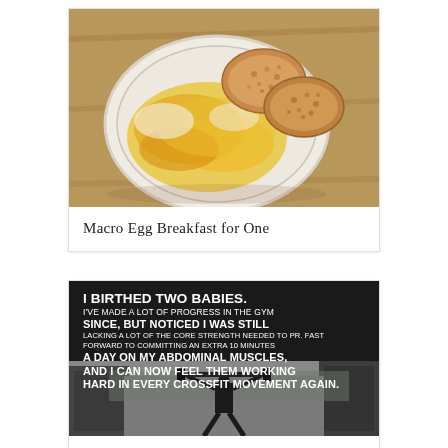[Figure (photo): Overhead photo of a plate with cheesy scrambled eggs and two halves of a toasted English muffin on a wooden surface]
Macro Egg Breakfast for One
[Figure (photo): Dark motivational image with bold white text overlay: 'I BIRTHED TWO BABIES. I'VE MADE A LOT OF PROGRESS IN THE GYM SINCE, BUT NOTICED I WAS STILL LACKING A LOT OF THE CORE STRENGTH NEEDED TO PR. FAST FORWARD TO COMMITTING AN EXTRA 10 MINUTES A DAY ON MY ABDOMINAL MUSCLES, AND I CAN NOW FEEL THEM WORKING HARD IN EVERY CROSSFIT MOVEMENT AGAIN.' Below text is a black-and-white photo of a person lifting a barbell overhead outside a gym.]
Because When Your Muscles...